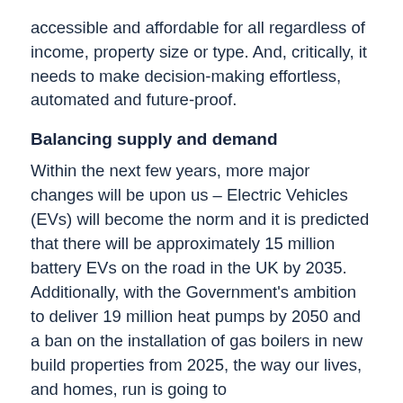accessible and affordable for all regardless of income, property size or type. And, critically, it needs to make decision-making effortless, automated and future-proof.
Balancing supply and demand
Within the next few years, more major changes will be upon us – Electric Vehicles (EVs) will become the norm and it is predicted that there will be approximately 15 million battery EVs on the road in the UK by 2035. Additionally, with the Government's ambition to deliver 19 million heat pumps by 2050 and a ban on the installation of gas boilers in new build properties from 2025, the way our lives, and homes, run is going to